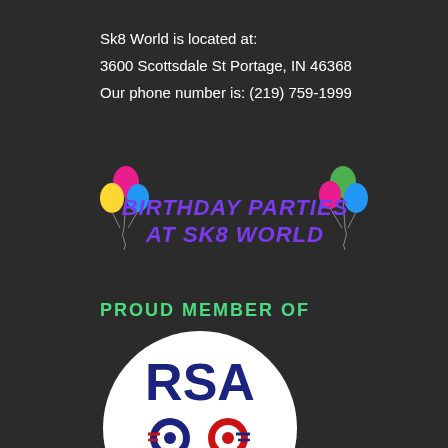Sk8 World is located at:
3600 Scottsdale St Portage, IN 46368
Our phone number is: (219) 759-1999
[Figure (illustration): Birthday Parties at Sk8 World banner with colorful balloons on left and right sides and purple bold italic text reading BIRTHDAY PARTIES AT SK8 WORLD]
PROUD MEMBER OF
[Figure (logo): Roller Skating Association International (RSA) logo: circular white badge with dark blue RSA letters, roller skate wheel graphics in navy and red, and text Roller Skating Association INTERNATIONAL]